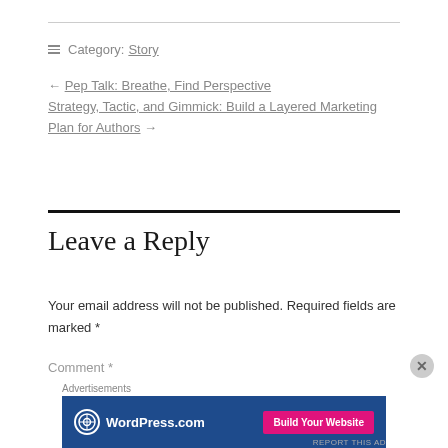Category: Story
← Pep Talk: Breathe, Find Perspective
Strategy, Tactic, and Gimmick: Build a Layered Marketing Plan for Authors →
Leave a Reply
Your email address will not be published. Required fields are marked *
Comment *
[Figure (screenshot): WordPress.com advertisement banner with 'Build Your Website' button]
Advertisements